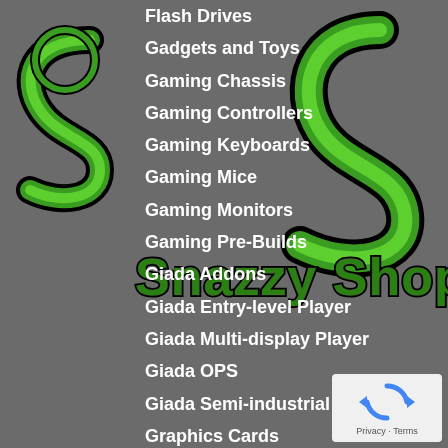[Figure (logo): Snazzy Shop logo with green swirling S letters and text 'Snazzy Shop' overlaid on grey background]
Flash Drives
Gadgets and Toys
Gaming Chassis
Gaming Controllers
Gaming Keyboards
Gaming Mice
Gaming Monitors
Gaming Pre-Builds
Giada Addons
Giada Entry-level Player
Giada Multi-display Player
Giada OPS
Giada Semi-industrial Player
Graphics Cards
Handsfree Kits
Hard Disk Drives
HDMI Extenders
HDMI Matrix
HDMI Switches
Headsets
[Figure (logo): Google reCAPTCHA widget showing refresh/robot icon with Privacy and Terms text]